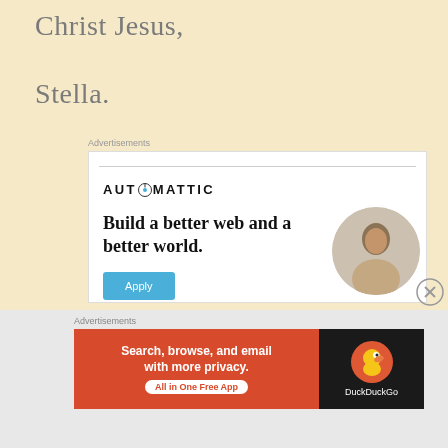Christ Jesus,
Stella.
Advertisements
[Figure (other): Automattic advertisement: logo with text 'AUTOMATTIC', tagline 'Build a better web and a better world.', Apply button, and photo of a man thinking]
Advertisements
[Figure (other): DuckDuckGo advertisement: 'Search, browse, and email with more privacy. All in One Free App' on orange background with DuckDuckGo logo on dark background]